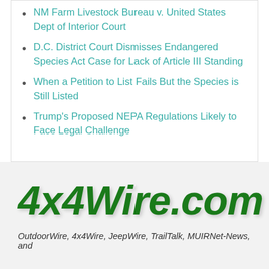NM Farm Livestock Bureau v. United States Dept of Interior Court
D.C. District Court Dismisses Endangered Species Act Case for Lack of Article III Standing
When a Petition to List Fails But the Species is Still Listed
Trump's Proposed NEPA Regulations Likely to Face Legal Challenge
[Figure (logo): 4x4Wire.com logo in bold dark green italic text]
OutdoorWire, 4x4Wire, JeepWire, TrailTalk, MUIRNet-News, and